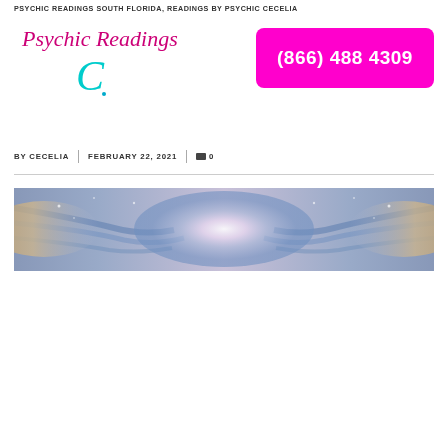PSYCHIC READINGS SOUTH FLORIDA, READINGS BY PSYCHIC CECELIA
[Figure (logo): Psychic Readings C logo in pink script with teal decorative C letter below]
[Figure (other): Pink/magenta button with phone number (866) 488 4309 in white bold text]
BY CECELIA | FEBRUARY 22, 2021 | 0
[Figure (photo): Wide banner image showing soft ethereal light with blue and gold tones, angelic or spiritual imagery]